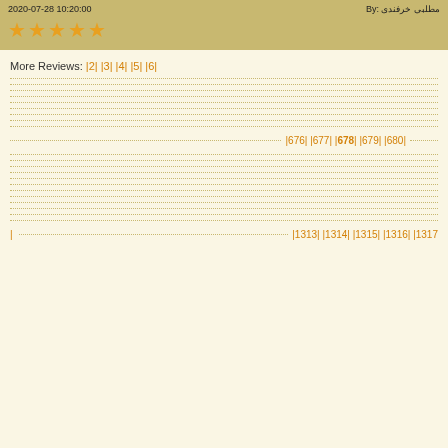By: مطلبی خرفندی  2020-07-28 10:20:00
★★★★★ (5 star rating)
More Reviews: |2| |3| |4| |5| |6|
|676| |677| |678| |679| |680|
| |1313| |1314| |1315| |1316| |1317